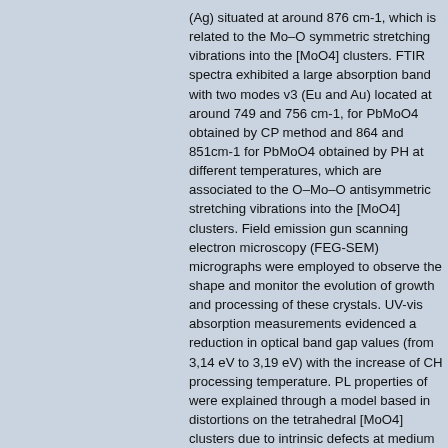(Ag) situated at around 876 cm-1, which is related to the Mo–O symmetric stretching vibrations into the [MoO4] clusters. FTIR spectra exhibited a large absorption band with two modes v3 (Eu and Au) located at around 749 and 756 cm-1, for PbMoO4 obtained by CP method and 864 and 851cm-1 for PbMoO4 obtained by PH at different temperatures, which are associated to the O–Mo–O antisymmetric stretching vibrations into the [MoO4] clusters. Field emission gun scanning electron microscopy (FEG-SEM) micrographs were employed to observe the shape and monitor the evolution of growth and processing of these crystals. UV-vis absorption measurements evidenced a reduction in optical band gap values (from 3,14 eV to 3,19 eV) with the increase of CH processing temperature. PL properties of were explained through a model based in distortions on the tetrahedral [MoO4] clusters due to intrinsic defects at medium range and presence of intermediary energy levels (deep and shallow holes) within the band gap. Finally, the growth mechanisms were proposed for... (Complete abstract click electronic access below)
Issue Date:	17-Feb-2011
Citation:	DELMONTE, Mauricio Roberto Bomio. Propriedades fotoluminescentes de PbMoO4 obtidos a partir dos métodos de coprecipitação e processamento hidrotérmico. 2011. 108 f. Tese (doutorado) - Universidade Estadual Paulista. Instituto de